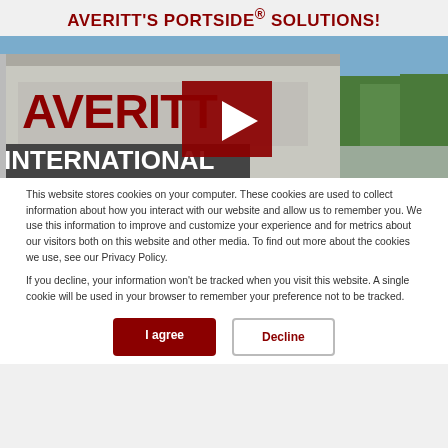AVERITT'S PORTSIDE® SOLUTIONS!
[Figure (photo): Exterior photo of Averitt International warehouse building with large red lettering, blue sky background, and a red video play button overlay in the center]
This website stores cookies on your computer. These cookies are used to collect information about how you interact with our website and allow us to remember you. We use this information to improve and customize your experience and for metrics about our visitors both on this website and other media. To find out more about the cookies we use, see our Privacy Policy.

If you decline, your information won't be tracked when you visit this website. A single cookie will be used in your browser to remember your preference not to be tracked.
I agree | Decline